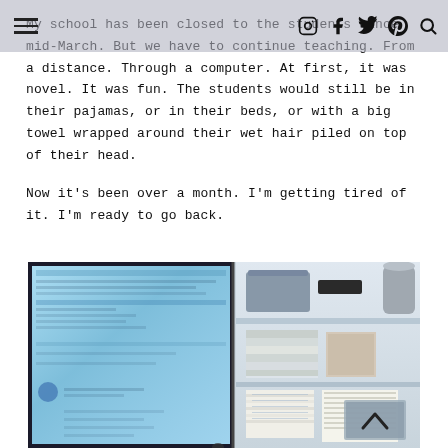[navigation bar with menu icon and social icons: Instagram, Facebook, Twitter, Pinterest, Search]
My school has been closed to the students since mid-March. But we have to continue teaching. From a distance. Through a computer. At first, it was novel. It was fun. The students would still be in their pajamas, or in their beds, or with a big towel wrapped around their wet hair piled on top of their head.
Now it's been over a month. I'm getting tired of it. I'm ready to go back.
[Figure (photo): Photo of a laptop computer showing a web browser/application screen on the left, and a white shelf unit on the right with a gray box, dark device, silver cylinder on top shelf, books and papers on middle shelf, and stacked papers on lower shelf. A scroll-to-top button with an upward chevron is visible in the lower right of the image.]